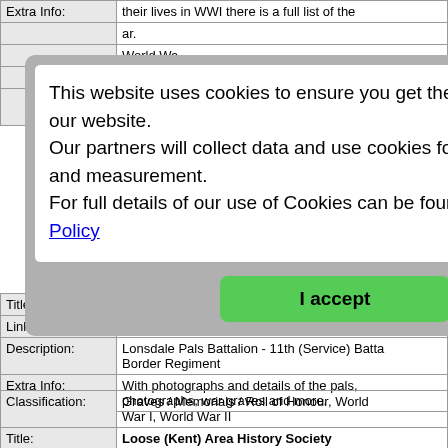| Extra Info: | their lives in WWI there is a full list of the ... ar. |
This website uses cookies to ensure you get the best experience on our website.
Our partners will collect data and use cookies for ad personalization and measurement.
For full details of our use of Cookies can be found in our Privacy Policy
I accept
| Title: | Lonsdale Pals Battalion |
| Link: | https://thelonsdalebattalion.co.uk/wiki/Main_Pa... |
| Description: | Lonsdale Pals Battalion - 11th (Service) Batta... Border Regiment |
| Extra Info: | With photographs and details of the pals, photographs, war graves and more. |
| Classification: | Graves / Memorials / Roll of Honour, World War I, World War II |
| Title: | Loose (Kent) Area History Society |
| Link: | https://www.looseareahistorysociety.org.uk/... |